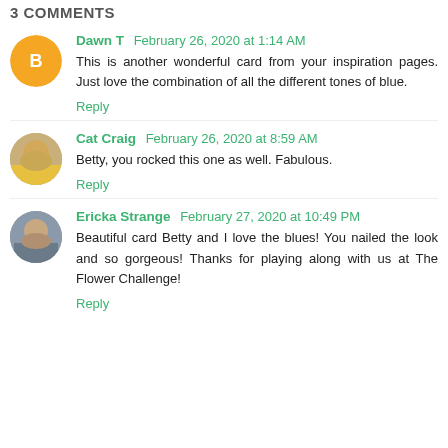3 COMMENTS
Dawn T  February 26, 2020 at 1:14 AM
This is another wonderful card from your inspiration pages. Just love the combination of all the different tones of blue.
Reply
Cat Craig  February 26, 2020 at 8:59 AM
Betty, you rocked this one as well. Fabulous.
Reply
Ericka Strange  February 27, 2020 at 10:49 PM
Beautiful card Betty and I love the blues! You nailed the look and so gorgeous! Thanks for playing along with us at The Flower Challenge!
Reply